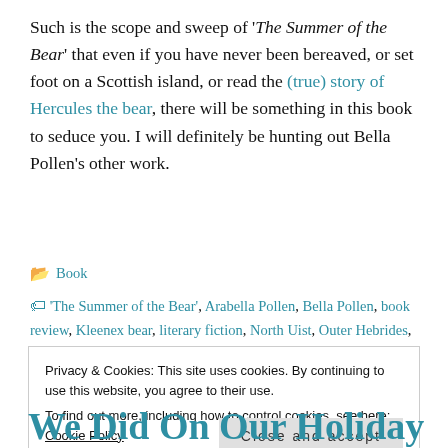Such is the scope and sweep of 'The Summer of the Bear' that even if you have never been bereaved, or set foot on a Scottish island, or read the (true) story of Hercules the bear, there will be something in this book to seduce you. I will definitely be hunting out Bella Pollen's other work.
Book
'The Summer of the Bear', Arabella Pollen, Bella Pollen, book review, Kleenex bear, literary fiction, North Uist, Outer Hebrides, Pan
Privacy & Cookies: This site uses cookies. By continuing to use this website, you agree to their use. To find out more, including how to control cookies, see here: Cookie Policy
Close and accept
We Did On Our Holiday